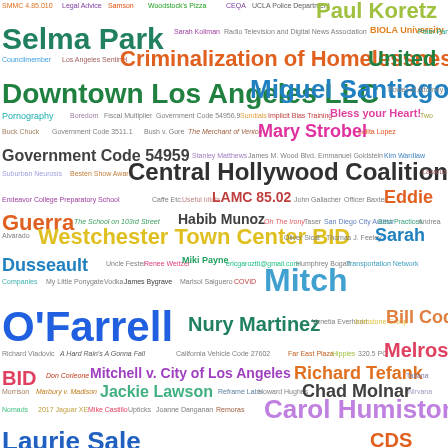[Figure (infographic): Word cloud featuring various names, legal codes, organizations, and topics related to Los Angeles government and public affairs. Prominent terms include Paul Koretz, Selma Park, Criminalization of Homelessness, United Downtown Los Angeles LLC, Miguel Santiago, Mary Strobel, Government Code 54959, Central Hollywood Coalition, Eddie Guerra, Westchester Town Center BID, Sarah Dusseault, Mitch O'Farrell, Nury Martinez, Bill Cody, Melrose BID, Mitchell v. City of Los Angeles, Richard Tefank, Jackie Lawson, Chad Molnar, Carol Humiston, Laurie Sale, and many others, displayed in varying sizes and colors indicating frequency or importance.]